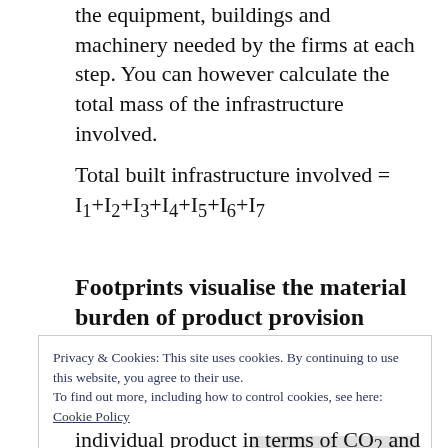the equipment, buildings and machinery needed by the firms at each step. You can however calculate the total mass of the infrastructure involved.
Footprints visualise the material burden of product provision
Privacy & Cookies: This site uses cookies. By continuing to use this website, you agree to their use.
To find out more, including how to control cookies, see here:
Cookie Policy
individual product in terms of CO2 and